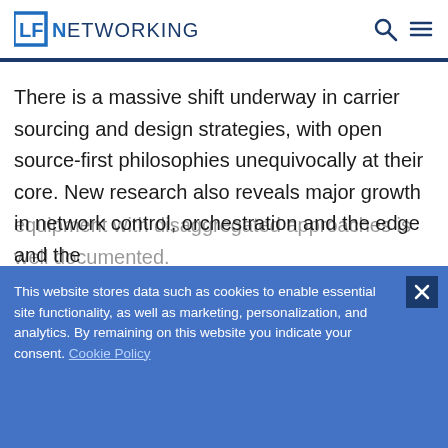LF NETWORKING
There is a massive shift underway in carrier sourcing and design strategies, with open source-first philosophies unequivocally at their core. New research also reveals major growth in network control, orchestration and the edge and the
equipment with disaggregated approaches is well documented.
This website stores data such as cookies to enable essential site functionality, as well as marketing, personalization, and analytics. By remaining on this website you indicate your consent. Cookie Policy